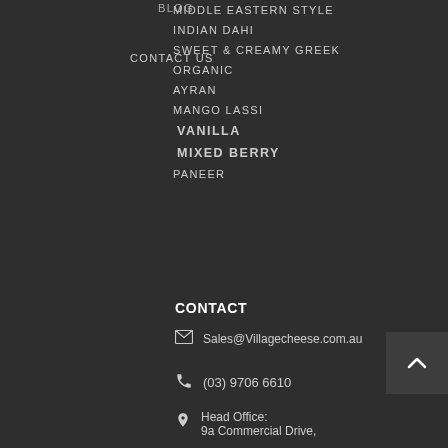BLOG
CONTACT US
MIDDLE EASTERN STYLE
INDIAN DAHI
SWEET & CREAMY GREEK
ORGANIC
AYRAN
MANGO LASSI
VANILLA
MIXED BERRY
PANEER
CONTACT
Sales@Villagecheese.com.au
(03) 9706 6610
Head Office: 9a Commercial Drive,